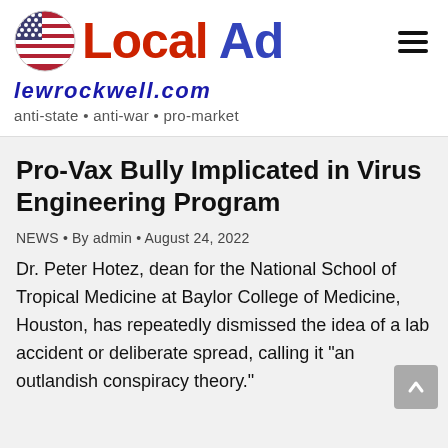[Figure (logo): Local Ad logo with circular American flag icon, 'Local Ad' in red and blue bold text, and hamburger menu icon]
lewrockwell.com
anti-state • anti-war • pro-market
Pro-Vax Bully Implicated in Virus Engineering Program
NEWS • By admin • August 24, 2022
Dr. Peter Hotez, dean for the National School of Tropical Medicine at Baylor College of Medicine, Houston, has repeatedly dismissed the idea of a lab accident or deliberate spread, calling it "an outlandish conspiracy theory."